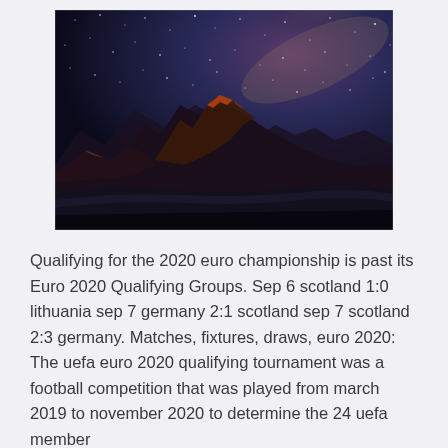[Figure (photo): A nighttime mountain landscape photo showing snow-covered mountain peaks lit with warm orange-red light against a dark blue starry sky with the Milky Way visible.]
Qualifying for the 2020 euro championship is past its Euro 2020 Qualifying Groups. Sep 6 scotland 1:0 lithuania sep 7 germany 2:1 scotland sep 7 scotland 2:3 germany. Matches, fixtures, draws, euro 2020: The uefa euro 2020 qualifying tournament was a football competition that was played from march 2019 to november 2020 to determine the 24 uefa member